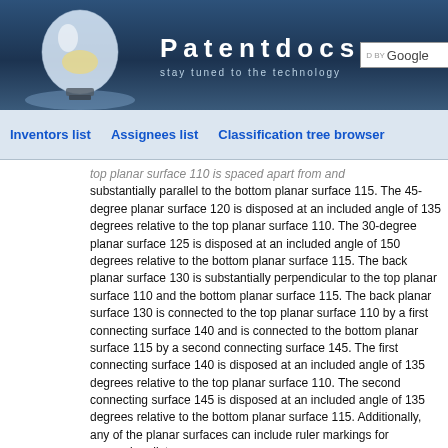Patentdocs — stay tuned to the technology
Inventors list   Assignees list   Classification tree browser
top planar surface 110 is spaced apart from and substantially parallel to the bottom planar surface 115. The 45-degree planar surface 120 is disposed at an included angle of 135 degrees relative to the top planar surface 110. The 30-degree planar surface 125 is disposed at an included angle of 150 degrees relative to the bottom planar surface 115. The back planar surface 130 is substantially perpendicular to the top planar surface 110 and the bottom planar surface 115. The back planar surface 130 is connected to the top planar surface 110 by a first connecting surface 140 and is connected to the bottom planar surface 115 by a second connecting surface 145. The first connecting surface 140 is disposed at an included angle of 135 degrees relative to the top planar surface 110. The second connecting surface 145 is disposed at an included angle of 135 degrees relative to the bottom planar surface 115. Additionally, any of the planar surfaces can include ruler markings for measuring distance.
[0026] The web 105 supports a 0-degree vial 150, a 90-degree vial 155, a 45-degree vial 160, and a